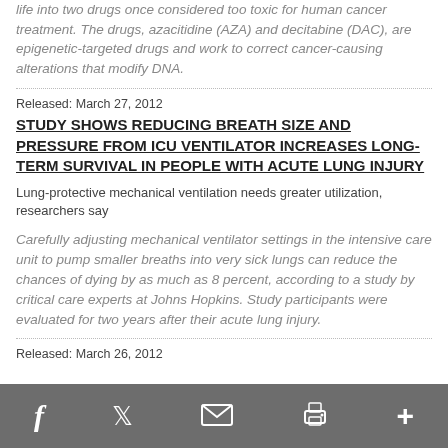life into two drugs once considered too toxic for human cancer treatment.  The drugs, azacitidine (AZA) and decitabine (DAC), are epigenetic-targeted drugs and work to correct cancer-causing alterations that modify DNA.
Released: March 27, 2012
STUDY SHOWS REDUCING BREATH SIZE AND PRESSURE FROM ICU VENTILATOR INCREASES LONG-TERM SURVIVAL IN PEOPLE WITH ACUTE LUNG INJURY
Lung-protective mechanical ventilation needs greater utilization, researchers say
Carefully adjusting mechanical ventilator settings in the intensive care unit to pump smaller breaths into very sick lungs can reduce the chances of dying by as much as 8 percent, according to a study by critical care experts at Johns Hopkins. Study participants were evaluated for two years after their acute lung injury.
Released: March 26, 2012